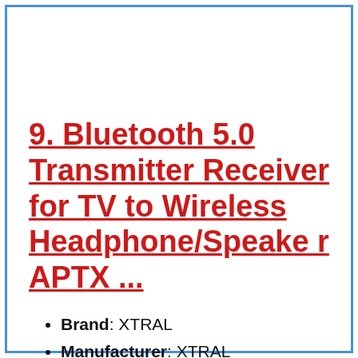9. Bluetooth 5.0 Transmitter Receiver for TV to Wireless Headphone/Speaker APTX ...
Brand: XTRAL
Manufacturer: XTRAL
Dimensions: Weight: 0.11904962148 Pounds `